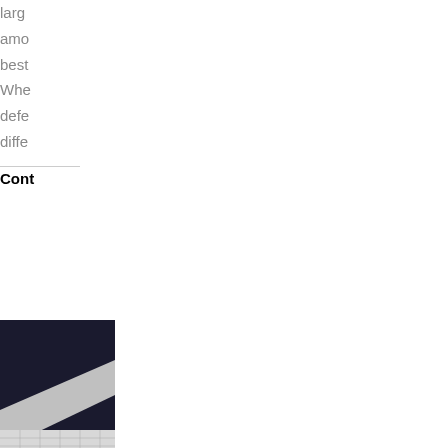larg
amo
best
Whe
defe
diffe
Cont
[Figure (photo): Partial view of a dark and light diagonal surface, possibly a metallic or fabric material with a grid-like texture in the lower portion.]